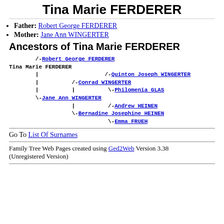Tina Marie FERDERER
Father: Robert George FERDERER
Mother: Jane Ann WINGERTER
Ancestors of Tina Marie FERDERER
[Figure (other): Ancestor tree diagram for Tina Marie FERDERER showing lineage including Robert George FERDERER, Quinton Joseph WINGERTER, Conrad WINGERTER, Philomenia GLAS, Jane Ann WINGERTER, Andrew HEINEN, Bernadine Josephine HEINEN, Emma FRUEH]
Go To List Of Surnames
Family Tree Web Pages created using Ged2Web Version 3.38 (Unregistered Version)